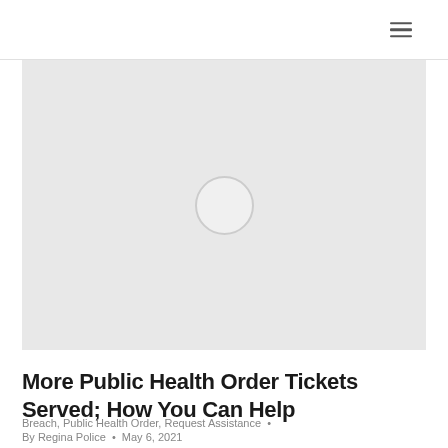≡
[Figure (photo): Large light gray placeholder image area with a circular loading/placeholder icon centered in it]
More Public Health Order Tickets Served; How You Can Help
Breach, Public Health Order, Request Assistance •
By Regina Police • May 6, 2021